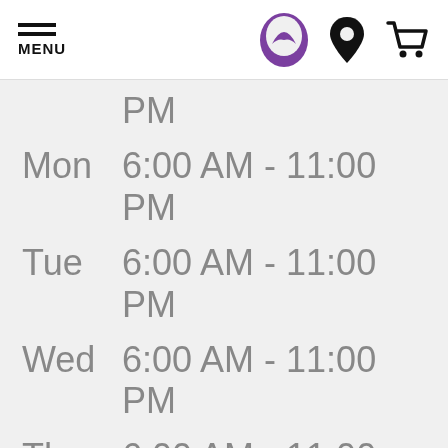MENU | Taco Bell Logo | Location icon | Cart icon
| Day | Hours |
| --- | --- |
|  | PM |
| Mon | 6:00 AM - 11:00 PM |
| Tue | 6:00 AM - 11:00 PM |
| Wed | 6:00 AM - 11:00 PM |
| Thu | 6:00 AM - 11:00 |